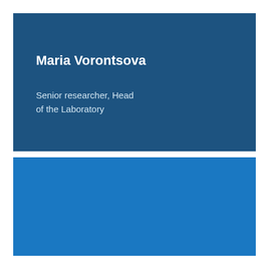Maria Vorontsova
Senior researcher, Head of the Laboratory